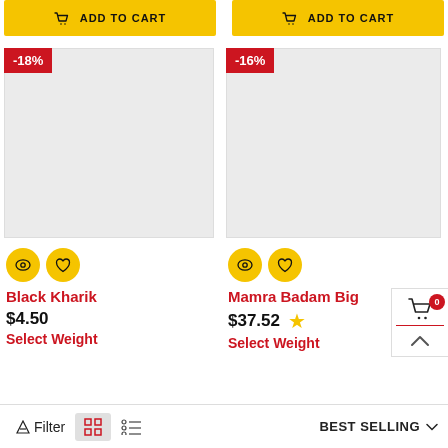[Figure (screenshot): Two ADD TO CART buttons at top of page, yellow background]
[Figure (screenshot): Left product card: -18% discount badge, gray placeholder image, eye and heart icons, Black Kharik name, $4.50 price, Select Weight label]
[Figure (screenshot): Right product card: -16% discount badge, gray placeholder image, eye and heart icons, Mamra Badam Big name, $37.52 price with star, Select Weight label]
Filter
BEST SELLING